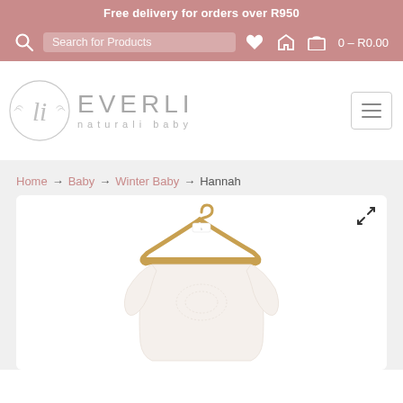Free delivery for orders over R950
[Figure (screenshot): E-commerce website header navigation bar with search icon, search box placeholder 'Search for Products', home icon, heart icon, cart icon showing '0 - R0.00']
[Figure (logo): Everli Naturali Baby logo: circular script 'li' monogram with botanical elements, beside text 'EVERLI naturali baby' in light gray serif font. Hamburger menu button on right.]
Home → Baby → Winter Baby → Hannah
[Figure (photo): Baby garment (white long-sleeve top/onesie) displayed on a wooden hanger against a white/light pink background. Expand icon in top right corner.]